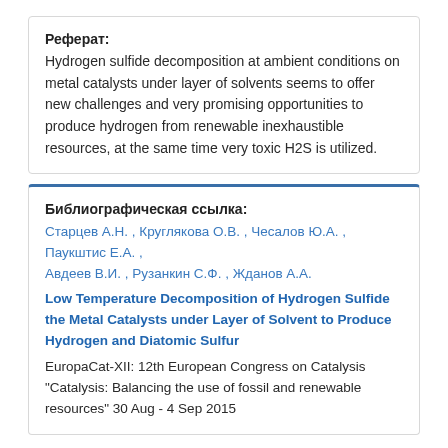Реферат: Hydrogen sulfide decomposition at ambient conditions on metal catalysts under layer of solvents seems to offer new challenges and very promising opportunities to produce hydrogen from renewable inexhaustible resources, at the same time very toxic H2S is utilized.
Библиографическая ссылка:
Старцев А.Н. , Круглякова О.В. , Чесалов Ю.А. , Паукштис Е.А. , Авдеев В.И. , Рузанкин С.Ф. , Жданов А.А.
Low Temperature Decomposition of Hydrogen Sulfide the Metal Catalysts under Layer of Solvent to Produce Hydrogen and Diatomic Sulfur
EuropaCat-XII: 12th European Congress on Catalysis "Catalysis: Balancing the use of fossil and renewable resources" 30 Aug - 4 Sep 2015